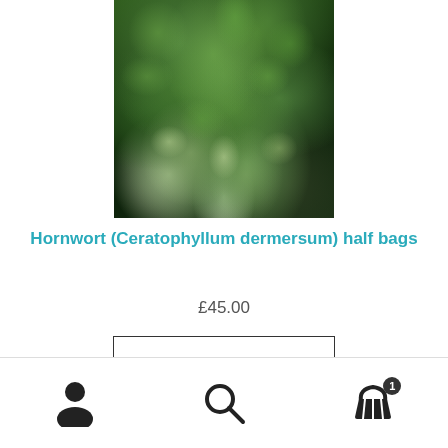[Figure (photo): Close-up photo of hornwort (Ceratophyllum dermersum) aquatic plant, showing dense green fronds and leaves in water with dark background]
Hornwort (Ceratophyllum dermersum) half bags
£45.00
Add to basket